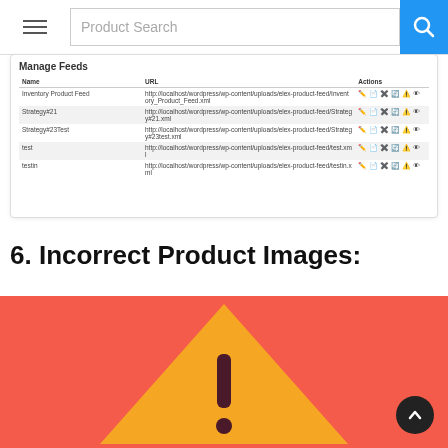Product Search
[Figure (screenshot): Manage Feeds table showing feed names, URLs, and action icons for Inventory Product Feed, Strategy#21, Strategy#23Test, test, testin]
6. Incorrect Product Images:
[Figure (illustration): Warning sign illustration with orange triangle and exclamation mark on red background]